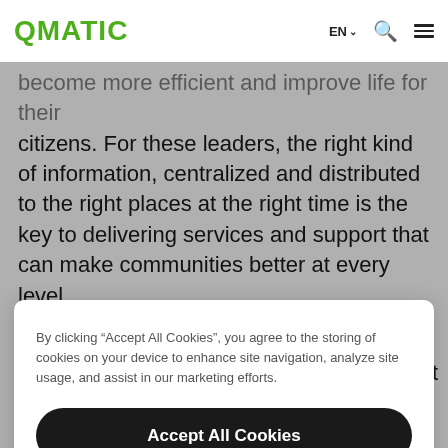QMATIC  EN  [search] [menu]
become more efficient and improve life for their citizens. For these leaders, the right kind of information, centralized and distributed to the right places at the right time is the key to delivering services and support that can make communities better at every level.
By clicking “Accept All Cookies”, you agree to the storing of cookies on your device to enhance site navigation, analyze site usage, and assist in our marketing efforts.
Accept All Cookies